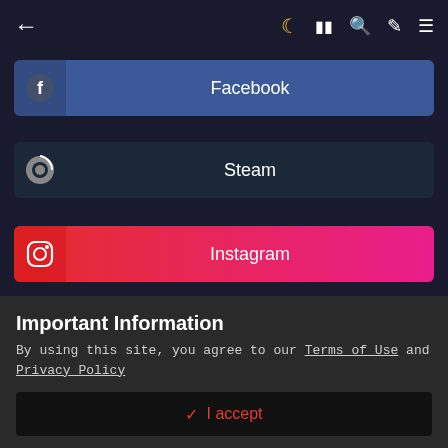Social Media
Facebook
Steam
Instagram
Theme ▾   Privacy Policy   Contact Us
[Figure (infographic): Social media icon row: Facebook, Twitter, YouTube, Instagram circles]
Important Information
By using this site, you agree to our Terms of Use and Privacy Policy
✓ I accept